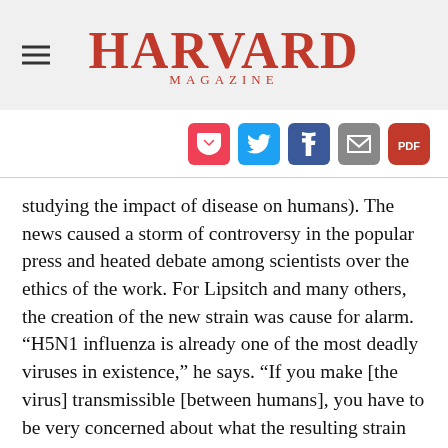HARVARD MAGAZINE
[Figure (infographic): Social sharing icons: Pocket (red), Twitter (blue), Facebook (dark blue), Email (grey), PDF (red)]
studying the impact of disease on humans). The news caused a storm of controversy in the popular press and heated debate among scientists over the ethics of the work. For Lipsitch and many others, the creation of the new strain was cause for alarm. “H5N1 influenza is already one of the most deadly viruses in existence,” he says. “If you make [the virus] transmissible [between humans], you have to be very concerned about what the resulting strain could do.”
To put this danger in context, the 1918 “Spanish”